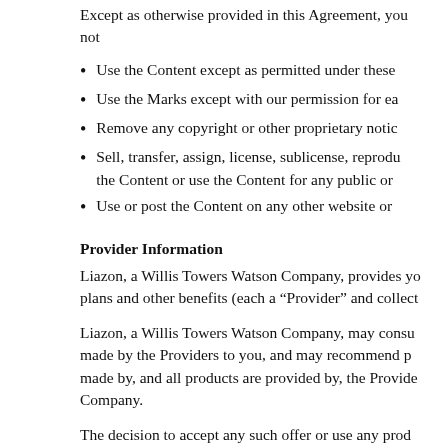Except as otherwise provided in this Agreement, you not
Use the Content except as permitted under these
Use the Marks except with our permission for ea
Remove any copyright or other proprietary notic
Sell, transfer, assign, license, sublicense, reprodu the Content or use the Content for any public or
Use or post the Content on any other website or
Provider Information
Liazon, a Willis Towers Watson Company, provides yo plans and other benefits (each a “Provider” and collect
Liazon, a Willis Towers Watson Company, may consu made by the Providers to you, and may recommend p made by, and all products are provided by, the Provide Company.
The decision to accept any such offer or use any prod Company, is not a party to any agreement that you ma solely responsible for its services to you.